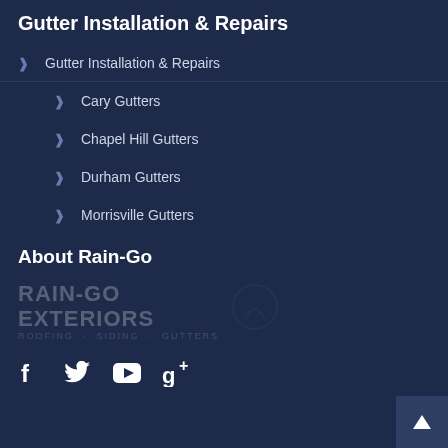Gutter Installation & Repairs
Gutter Installation & Repairs
Cary Gutters
Chapel Hill Gutters
Durham Gutters
Morrisville Gutters
About Rain-Go
[Figure (logo): Rain-Go Exteriors logo with text RAIN-GO EXTERIORS ROOFING · SIDING · GUTTERS and a circular icon]
Social media icons: Facebook, Twitter, YouTube, Google+